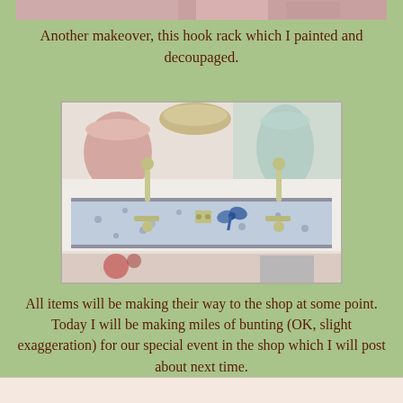[Figure (photo): Partial view of a decorative item with pink/floral tones visible at the top of the page]
Another makeover, this hook rack which I painted and decoupaged.
[Figure (photo): A decorated hook rack with blue floral decoupage pattern and metal hooks, photographed on a light surface with other craft items in the background]
All items will be making their way to the shop at some point. Today I will be making miles of bunting (OK, slight exaggeration) for our special event in the shop which I will post about next time.